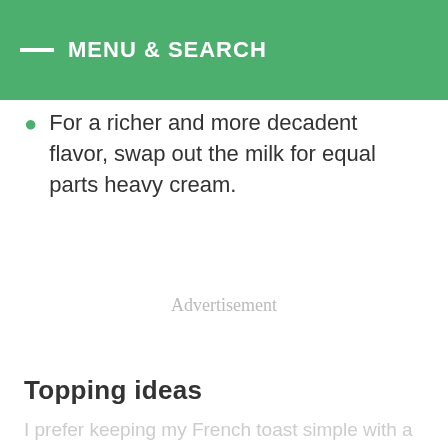MENU & SEARCH
For a richer and more decadent flavor, swap out the milk for equal parts heavy cream.
Advertisement
Topping ideas
I prefer keeping my French toast simple with a